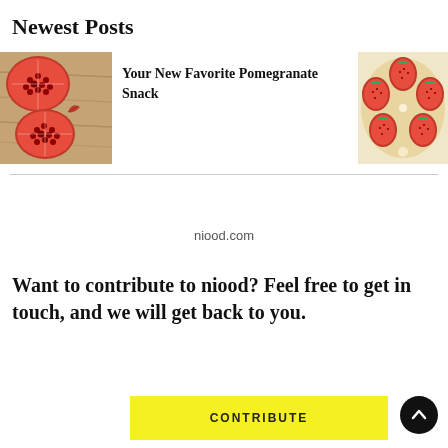Newest Posts
[Figure (photo): Pomegranates cut open on a wooden cutting board, viewed from above]
Your New Favorite Pomegranate Snack
[Figure (photo): Strawberries arranged on what appears to be a creamy base, viewed from above]
niood.com
Want to contribute to niood? Feel free to get in touch, and we will get back to you.
CONTRIBUTE